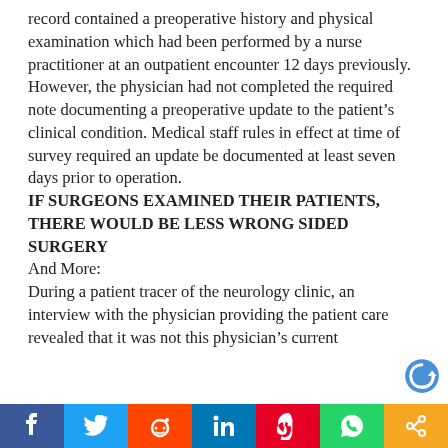record contained a preoperative history and physical examination which had been performed by a nurse practitioner at an outpatient encounter 12 days previously. However, the physician had not completed the required note documenting a preoperative update to the patient's clinical condition. Medical staff rules in effect at time of survey required an update be documented at least seven days prior to operation.
IF SURGEONS EXAMINED THEIR PATIENTS, THERE WOULD BE LESS WRONG SIDED SURGERY
And More:
During a patient tracer of the neurology clinic, an interview with the physician providing the patient care revealed that it was not this physician's current